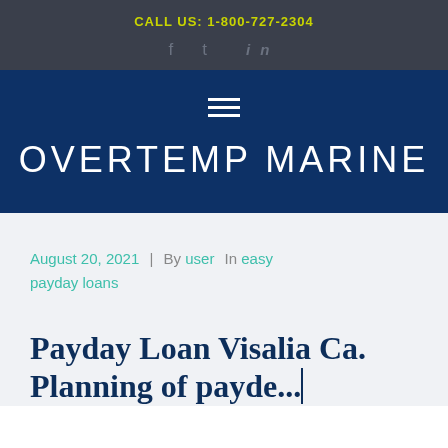CALL US: 1-800-727-2304
[Figure (logo): Overtemp Marine website header with hamburger menu icon and site title OVERTEMP MARINE on dark blue background]
August 20, 2021 | By user  In easy payday loans
Payday Loan Visalia Ca. Planning of payde...